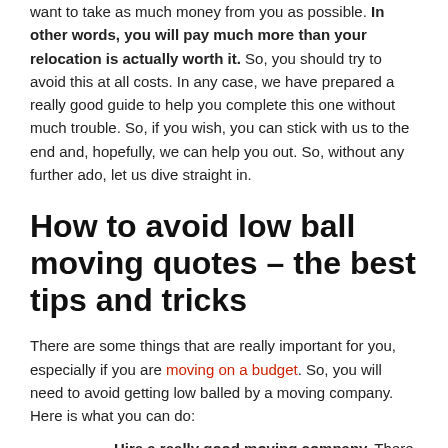want to take as much money from you as possible. In other words, you will pay much more than your relocation is actually worth it. So, you should try to avoid this at all costs. In any case, we have prepared a really good guide to help you complete this one without much trouble. So, if you wish, you can stick with us to the end and, hopefully, we can help you out. So, without any further ado, let us dive straight in.
How to avoid low ball moving quotes – the best tips and tricks
There are some things that are really important for you, especially if you are moving on a budget. So, you will need to avoid getting low balled by a moving company. Here is what you can do:
Hire a really good moving company. There are fraudulent movers everywhere nowadays. So, you will need to hire a professional one you can